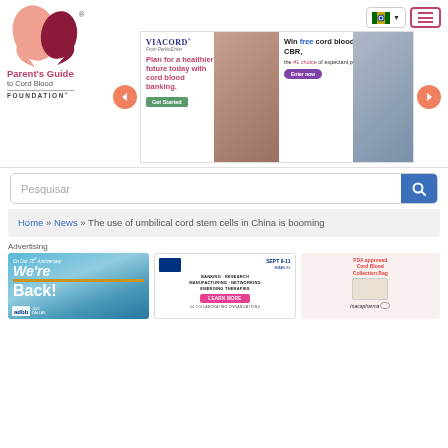[Figure (logo): Parent's Guide to Cord Blood Foundation logo with two heart shapes and text]
[Figure (screenshot): ViaCord banner ad: Plan for a healthier future today with cord blood banking. Get Started button.]
[Figure (screenshot): CBR banner ad: Win free cord blood banking from CBR, the #1 choice of expectant parents and OB/GYNs. Enter now button.]
Pesquisar
Home » News » The use of umbilical cord stem cells in China is booming
Advertising
[Figure (screenshot): AABB On Our 75th Anniversary We're Back! 2022 conference ad]
[Figure (screenshot): Cord Blood Council SEPT 9-11 Banking Research Manufacturing Networking Emerging Therapies LEARN MORE 14 collaborating organizations ad]
[Figure (screenshot): FDA approved Cord Blood Collection Bag - macopharma ad]